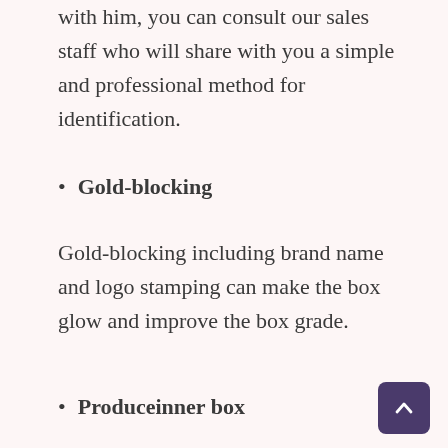with him, you can consult our sales staff who will share with you a simple and professional method for identification.
Gold-blocking
Gold-blocking including brand name and logo stamping can make the box glow and improve the box grade.
Produceinner box